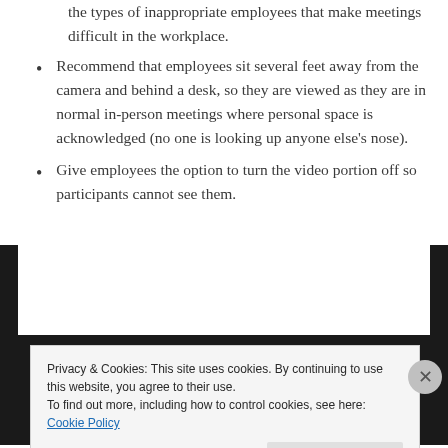the types of inappropriate employees that make meetings difficult in the workplace.
Recommend that employees sit several feet away from the camera and behind a desk, so they are viewed as they are in normal in-person meetings where personal space is acknowledged (no one is looking up anyone else's nose).
Give employees the option to turn the video portion off so participants cannot see them.
CREATE A FREE WEBSITE OR BLOG AT WORDPRESS.COM.
UP ↑
Privacy & Cookies: This site uses cookies. By continuing to use this website, you agree to their use.
To find out more, including how to control cookies, see here: Cookie Policy